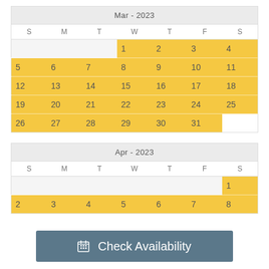| S | M | T | W | T | F | S |
| --- | --- | --- | --- | --- | --- | --- |
|  |  |  | 1 | 2 | 3 | 4 |
| 5 | 6 | 7 | 8 | 9 | 10 | 11 |
| 12 | 13 | 14 | 15 | 16 | 17 | 18 |
| 19 | 20 | 21 | 22 | 23 | 24 | 25 |
| 26 | 27 | 28 | 29 | 30 | 31 |  |
| S | M | T | W | T | F | S |
| --- | --- | --- | --- | --- | --- | --- |
|  |  |  |  |  |  | 1 |
| 2 | 3 | 4 | 5 | 6 | 7 | 8 |
Check Availability